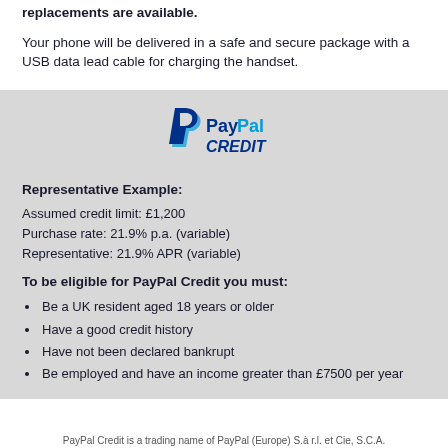replacements are available.
Your phone will be delivered in a safe and secure package with a USB data lead cable for charging the handset.
[Figure (logo): PayPal CREDIT logo in blue]
Representative Example:
Assumed credit limit: £1,200
Purchase rate: 21.9% p.a. (variable)
Representative: 21.9% APR (variable)
To be eligible for PayPal Credit you must:
Be a UK resident aged 18 years or older
Have a good credit history
Have not been declared bankrupt
Be employed and have an income greater than £7500 per year
PayPal Credit is a trading name of PayPal (Europe) S.à r.l. et Cie, S.C.A.